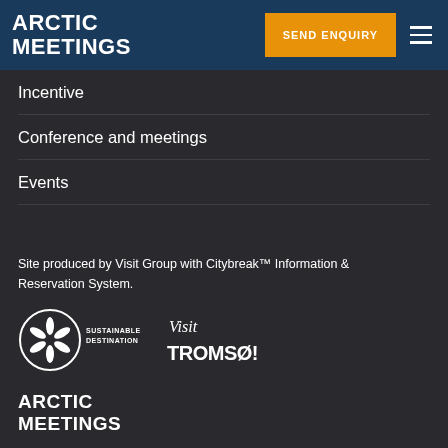ARCTIC MEETINGS
Incentive
Conference and meetings
Events
Site produced by Visit Group with Citybreak™ Information & Reservation System.
[Figure (logo): Sustainable Destination certification logo — circular badge with a flower/snowflake icon and text SUSTAINABLE DESTINATION]
[Figure (logo): Visit Tromsø! logo in handwritten/script style]
[Figure (logo): Arctic Meetings logo in bold white uppercase text]